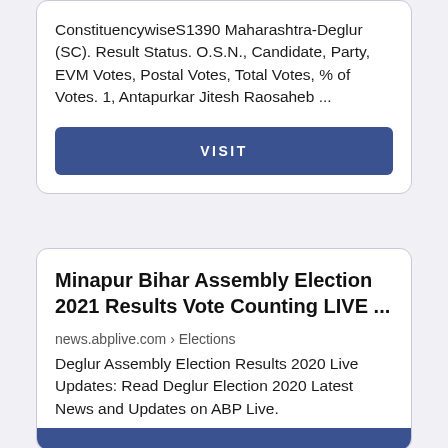ConstituencywiseS1390 Maharashtra-Deglur (SC). Result Status. O.S.N., Candidate, Party, EVM Votes, Postal Votes, Total Votes, % of Votes. 1, Antapurkar Jitesh Raosaheb ...
VISIT
Minapur Bihar Assembly Election 2021 Results Vote Counting LIVE ...
news.abplive.com › Elections
Deglur Assembly Election Results 2020 Live Updates: Read Deglur Election 2020 Latest News and Updates on ABP Live.